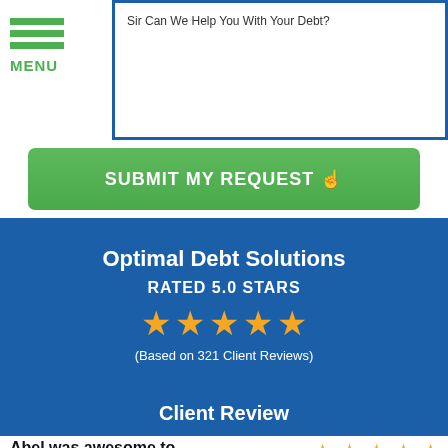Sir Can We Help You With Your Debt?
[Figure (screenshot): Green hamburger menu icon with three horizontal lines and MENU label below]
[Figure (screenshot): Green SUBMIT MY REQUEST button with hand pointer icon]
Optimal Debt Solutions
RATED 5.0 STARS
[Figure (infographic): Five gold stars rating]
(Based on 321 Client Reviews)
Client Review
Abel was awesome to work with.
[Figure (infographic): Five gold stars rating for client review]
Abel was awesome to work with, very thorough an...